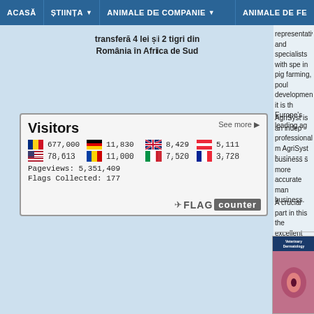ACASĂ | ȘTIINȚA | ANIMALE DE COMPANIE | ANIMALE DE FE...
transferă 4 lei și 2 tigri din România în Africa de Sud
[Figure (screenshot): Flag Counter widget showing visitor statistics: Romania 677,000; Germany 11,830; UK 8,429; Austria 5,111; USA 78,613; Moldova 11,000; Italy 7,520; France 3,728; Pageviews: 5,351,409; Flags Collected: 177]
representatives and specialists with spe in pig farming, poul development, it is th Europe's leading ag
AgriSyst is an indep professionalizing m AgriSyst business s more accurate man business.
A crucial part in this the excellent soluti services
[Figure (photo): Cover of Veterinary Dermatology journal showing a close-up endoscopic image.]